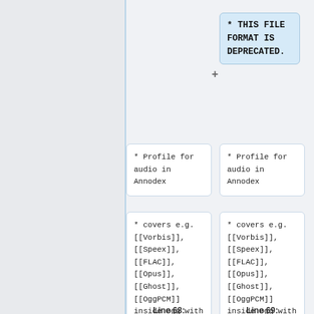* THIS FILE FORMAT IS DEPRECATED.
* Profile for audio in Annodex
* Profile for audio in Annodex
* covers e.g. [[Vorbis]], [[Speex]], [[FLAC]], [[Opus]], [[Ghost]], [[OggPCM]] inside Ogg with Skeleton and CMML
* covers e.g. [[Vorbis]], [[Speex]], [[FLAC]], [[Opus]], [[Ghost]], [[OggPCM]] inside Ogg with Skeleton and CMML
Line 68:
Line 69: